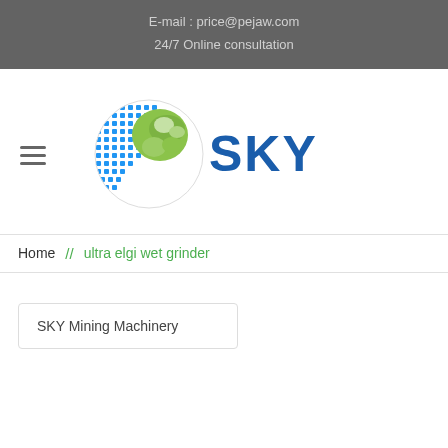E-mail : price@pejaw.com
24/7 Online consultation
[Figure (logo): SKY Mining Machinery logo with globe graphic made of blue dots and green land masses, with stylized 'SKY' text in blue]
Home // ultra elgi wet grinder
SKY Mining Machinery